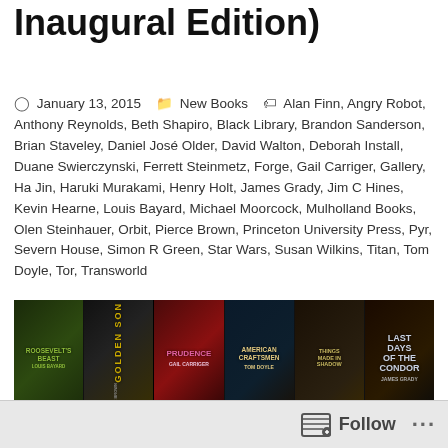Inaugural Edition)
January 13, 2015   New Books   Alan Finn, Angry Robot, Anthony Reynolds, Beth Shapiro, Black Library, Brandon Sanderson, Brian Staveley, Daniel José Older, David Walton, Deborah Install, Duane Swierczynski, Ferrett Steinmetz, Forge, Gail Carriger, Gallery, Ha Jin, Haruki Murakami, Henry Holt, James Grady, Jim C Hines, Kevin Hearne, Louis Bayard, Michael Moorcock, Mulholland Books, Olen Steinhauer, Orbit, Pierce Brown, Princeton University Press, Pyr, Severn House, Simon R Green, Star Wars, Susan Wilkins, Titan, Tom Doyle, Tor, Transworld
[Figure (photo): Grid of book covers including Roosevelt's Beast, Golden Son, Prudence by Gail Carriger, American Craftsmen by Tom Doyle, a book about shadows, Last Days of the Condor by James Grady, and partial covers of other books by Simon R and Star (Wars) series]
Follow ...